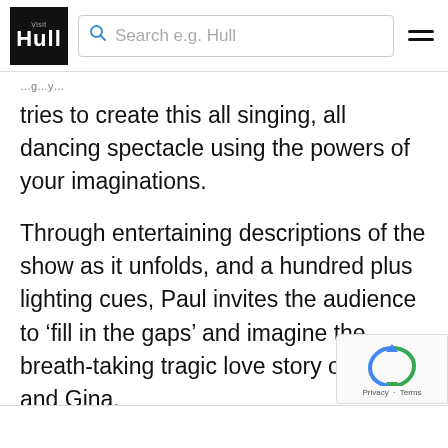Visit Hull — Search e.g. Hull
tries to create this all singing, all dancing spectacle using the powers of your imaginations.
Through entertaining descriptions of the show as it unfolds, and a hundred plus lighting cues, Paul invites the audience to ‘fill in the gaps’ and imagine the breath-taking tragic love story of Tommy and Gina.
Age guidance: 12+